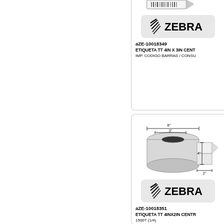[Figure (illustration): Partial label roll illustration at top, cropped]
[Figure (logo): Zebra brand logo in rounded rectangle box]
aZE-10018349
ETIQUETA TT 4IN X 3IN CENT
IMP. CODIGO BARRAS / CONSU
[Figure (illustration): Label roll illustration with dimension annotations: 8", 3", 4", 2"]
[Figure (logo): Zebra brand logo in rounded rectangle box]
aZE-10018351
ETIQUETA TT 4INX2IN CENTR
1500T (1/4)